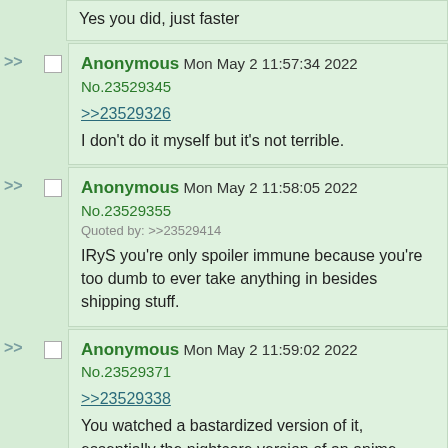Yes you did, just faster
Anonymous Mon May 2 11:57:34 2022 No.23529345
>>23529326
I don't do it myself but it's not terrible.
Anonymous Mon May 2 11:58:05 2022 No.23529355
Quoted by: >>23529414
IRyS you're only spoiler immune because you're too dumb to ever take anything in besides shipping stuff.
Anonymous Mon May 2 11:59:02 2022 No.23529371
>>23529338
You watched a bastardized version of it, essentially the nightcore version of an anime
Anonymous Mon May 2 12:00:23 2022 No.23529398
speeding up is not that bad, i used to watch multiple anime at the same time just like with